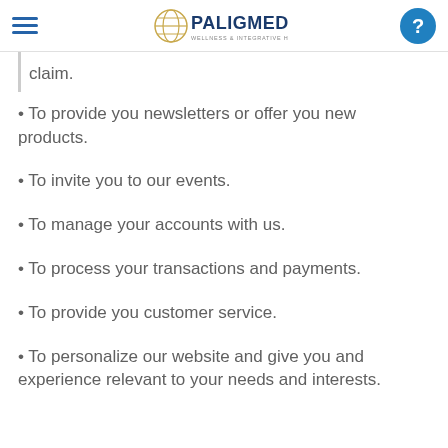PALIGMED – Wellness & Integrative Health Care
claim.
• To provide you newsletters or offer you new products.
• To invite you to our events.
• To manage your accounts with us.
• To process your transactions and payments.
• To provide you customer service.
• To personalize our website and give you and experience relevant to your needs and interests.